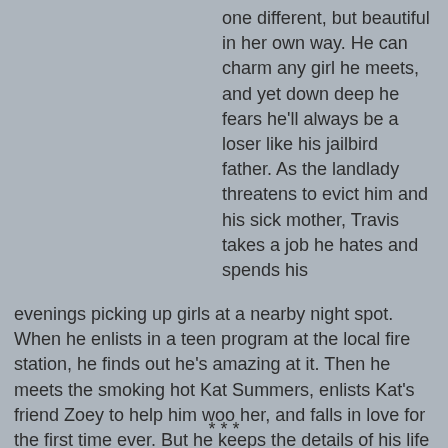one different, but beautiful in her own way. He can charm any girl he meets, and yet down deep he fears he'll always be a loser like his jailbird father. As the landlady threatens to evict him and his sick mother, Travis takes a job he hates and spends his evenings picking up girls at a nearby night spot. When he enlists in a teen program at the local fire station, he finds out he's amazing at it. Then he meets the smoking hot Kat Summers, enlists Kat's friend Zoey to help him woo her, and falls in love for the first time ever. But he keeps the details of his life secret. His girl will never love him back if she knows the truth about him....